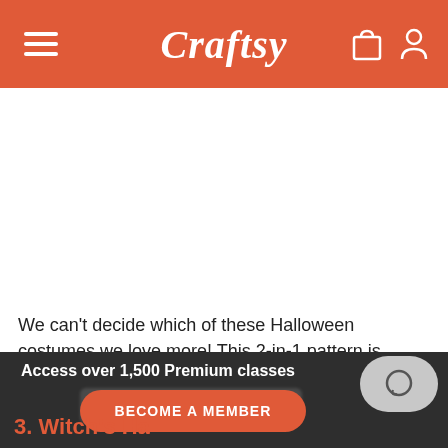Craftsy
[Figure (illustration): Large white blank area representing an image placeholder below the Craftsy navigation header]
We can't decide which of these Halloween costumes we love more! This 2-in-1 pattern is perfect if you have two little ones at home, and will keep your kids warm on chilly trick-or-treat nights
Access over 1,500 Premium classes
BECOME A MEMBER
3. Witch's Ha